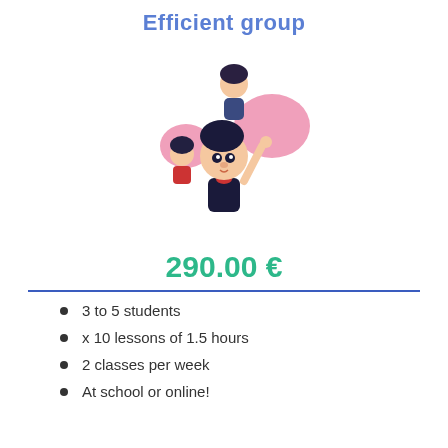Efficient group
[Figure (illustration): Cartoon illustration of a teacher or instructor with two students, pink speech bubbles, colorful characters]
290.00 €
3 to 5 students
x 10 lessons of 1.5 hours
2 classes per week
At school or online!